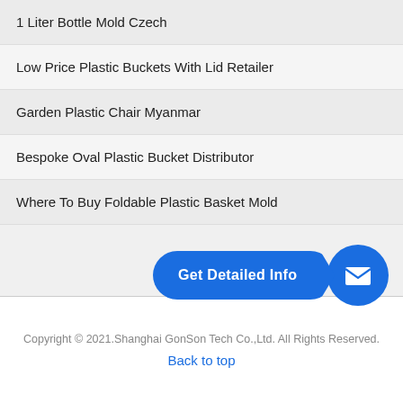1 Liter Bottle Mold Czech
Low Price Plastic Buckets With Lid Retailer
Garden Plastic Chair Myanmar
Bespoke Oval Plastic Bucket Distributor
Where To Buy Foldable Plastic Basket Mold
[Figure (infographic): Blue 'Get Detailed Info' call-to-action button with arrow pointing to a blue circle containing an envelope/email icon]
Copyright © 2021.Shanghai GonSon Tech Co.,Ltd. All Rights Reserved.
Back to top